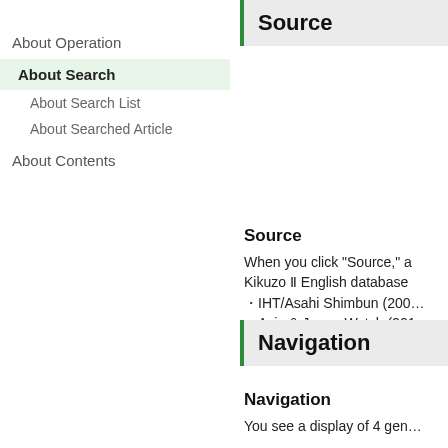About Operation
About Search
About Search List
About Searched Article
About Contents
Source
Source
When you click "Source," a Kikuzo II English database IHT/Asahi Shimbun (200... Asia & Japan Watch (201...
Navigation
Navigation
You see a display of 4 gen...